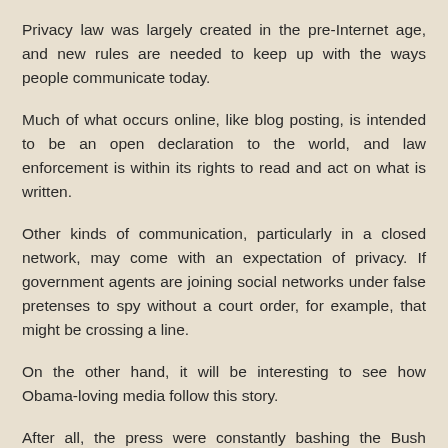Privacy law was largely created in the pre-Internet age, and new rules are needed to keep up with the ways people communicate today.
Much of what occurs online, like blog posting, is intended to be an open declaration to the world, and law enforcement is within its rights to read and act on what is written.
Other kinds of communication, particularly in a closed network, may come with an expectation of privacy. If government agents are joining social networks under false pretenses to spy without a court order, for example, that might be crossing a line.
On the other hand, it will be interesting to see how Obama-loving media follow this story.
After all, the press were constantly bashing the Bush White House concerning electronic surveillance designed to